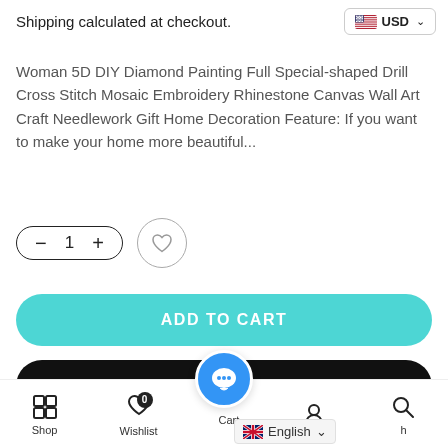Shipping calculated at checkout.
USD
Woman 5D DIY Diamond Painting Full Special-shaped Drill Cross Stitch Mosaic Embroidery Rhinestone Canvas Wall Art Craft Needlework Gift Home Decoration Feature: If you want to make your home more beautiful...
- 1 +
ADD TO CART
BUY IT NOW
[Figure (infographic): Payment method icons: Mastercard (blue/red), Mastercard (red/orange/yellow), PayPal, O Pay (purple), VISA]
Shop  Wishlist  Cart  English  Search